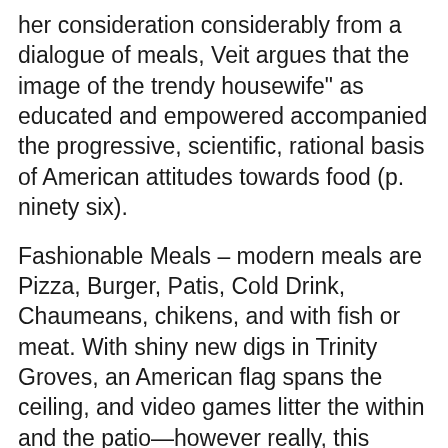her consideration considerably from a dialogue of meals, Veit argues that the image of the trendy housewife" as educated and empowered accompanied the progressive, scientific, rational basis of American attitudes towards food (p. ninety six).
Fashionable Meals – modern meals are Pizza, Burger, Patis, Cold Drink, Chaumeans, chikens, and with fish or meat. With shiny new digs in Trinity Groves, an American flag spans the ceiling, and video games litter the within and the patio—however really, this restaurant is prepared to let the meals do all the talking.
HISTORY OF